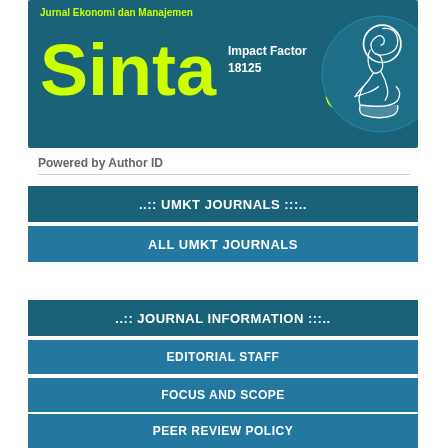[Figure (logo): UMKT journal banner with teal background showing 'Jurnal Ekonomi dan Manajemen', large yellow-green 'Sinta 5' text, Impact Factor 18125, and a circular logo with Wayang figure on the right]
Powered by Author ID
..:: UMKT JOURNALS ::..
ALL UMKT JOURNALS
..:: JOURNAL INFORMATION ::..
EDITORIAL STAFF
FOCUS AND SCOPE
PEER REVIEW POLICY
REVIEWER